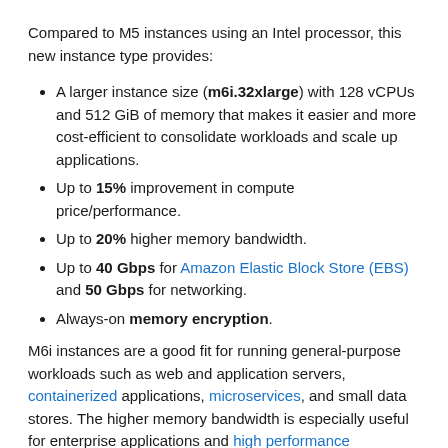Compared to M5 instances using an Intel processor, this new instance type provides:
A larger instance size (m6i.32xlarge) with 128 vCPUs and 512 GiB of memory that makes it easier and more cost-efficient to consolidate workloads and scale up applications.
Up to 15% improvement in compute price/performance.
Up to 20% higher memory bandwidth.
Up to 40 Gbps for Amazon Elastic Block Store (EBS) and 50 Gbps for networking.
Always-on memory encryption.
M6i instances are a good fit for running general-purpose workloads such as web and application servers, containerized applications, microservices, and small data stores. The higher memory bandwidth is especially useful for enterprise applications and high performance computing (HPC) workloads such as computational fluid dynamics (CFD).
M6i instances are also SAP-certified. For over eight years SAP customers have been relying on the Amazon EC2 M-family of